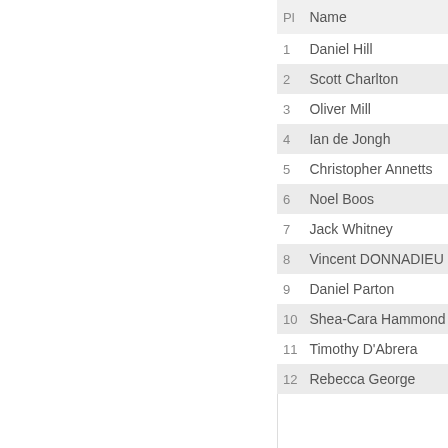| Pl | Name |
| --- | --- |
| 1 | Daniel Hill |
| 2 | Scott Charlton |
| 3 | Oliver Mill |
| 4 | Ian de Jongh |
| 5 | Christopher Annetts |
| 6 | Noel Boos |
| 7 | Jack Whitney |
| 8 | Vincent DONNADIEU |
| 9 | Daniel Parton |
| 10 | Shea-Cara Hammond |
| 11 | Timothy D'Abrera |
| 12 | Rebecca George |